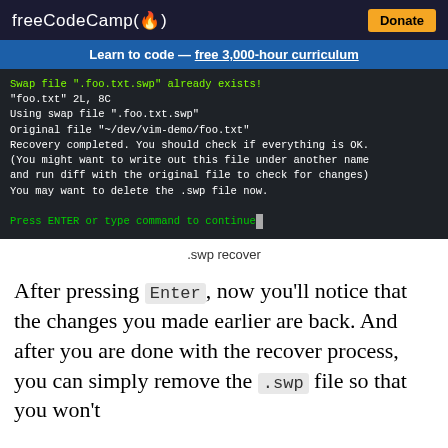freeCodeCamp(🔥) Donate
Learn to code — free 3,000-hour curriculum
[Figure (screenshot): Terminal screenshot showing vim swap file recovery output. Yellow/green warning text: 'Swap file ".foo.txt.swp" already exists!' followed by white text showing file info and recovery messages. Green prompt at bottom: 'Press ENTER or type command to continue']
.swp recover
After pressing Enter, now you'll notice that the changes you made earlier are back. And after you are done with the recover process, you can simply remove the .swp file so that you won't